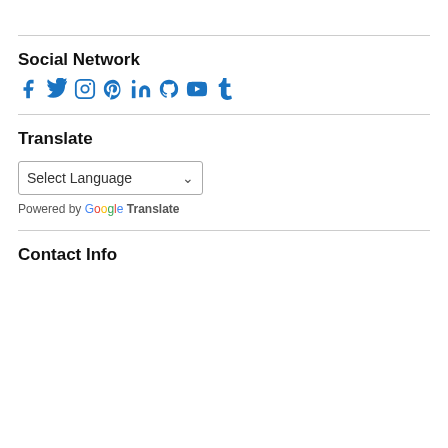Social Network
[Figure (other): Social network icons: Facebook, Twitter, Instagram, Pinterest, LinkedIn, GitHub, YouTube, Tumblr — all in blue]
Translate
Select Language (dropdown)
Powered by Google Translate
Contact Info